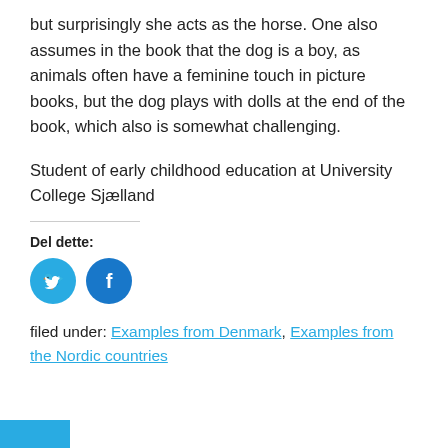but surprisingly she acts as the horse. One also assumes in the book that the dog is a boy, as animals often have a feminine touch in picture books, but the dog plays with dolls at the end of the book, which also is somewhat challenging.
Student of early childhood education at University College Sjælland
Del dette:
[Figure (other): Twitter and Facebook social share icon buttons (circular blue buttons with bird and f logos)]
filed under: Examples from Denmark, Examples from the Nordic countries